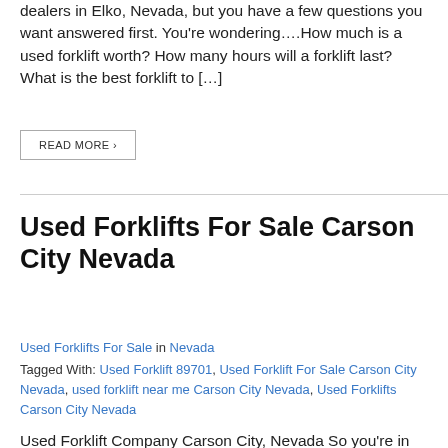dealers in Elko, Nevada, but you have a few questions you want answered first. You're wondering….How much is a used forklift worth? How many hours will a forklift last? What is the best forklift to […]
READ MORE ›
Used Forklifts For Sale Carson City Nevada
Used Forklifts For Sale in Nevada
Tagged With: Used Forklift 89701, Used Forklift For Sale Carson City Nevada, used forklift near me Carson City Nevada, Used Forklifts Carson City Nevada
Used Forklift Company Carson City, Nevada So you're in the